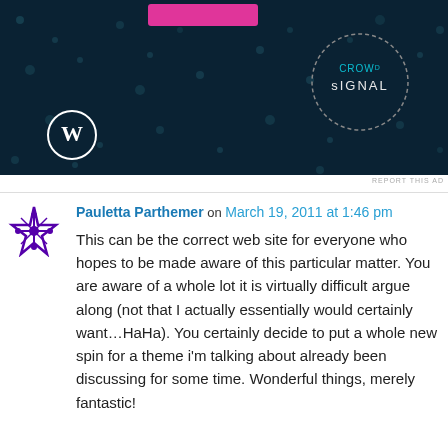[Figure (screenshot): Advertisement banner with dark navy background showing WordPress logo, Crowdsignal badge, and pink button]
REPORT THIS AD
Pauletta Parthemer on March 19, 2011 at 1:46 pm
This can be the correct web site for everyone who hopes to be made aware of this particular matter. You are aware of a whole lot it is virtually difficult argue along (not that I actually essentially would certainly want…HaHa). You certainly decide to put a whole new spin for a theme i'm talking about already been discussing for some time. Wonderful things, merely fantastic!